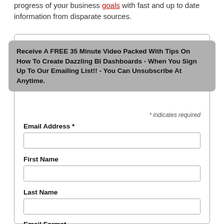progress of your business goals with fast and up to date information from disparate sources.
Receive A FREE 35 Minute Video Packed With Tips On How To Create Dazzling BI Dashboards - When You Sign Up To Our Emailing List!! - You Can Unsubscribe At Anytime.
* indicates required
Email Address *
First Name
Last Name
Email Format
html
text